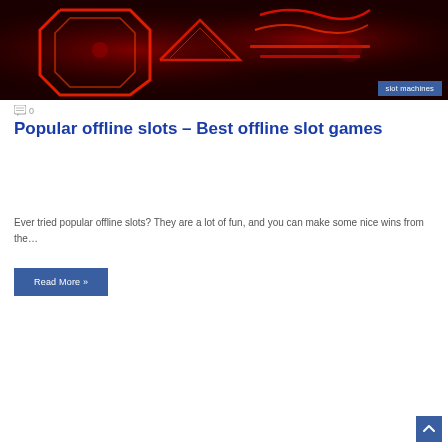[Figure (photo): Neon red casino/slots signage on dark background, showing neon light outlines of symbols]
slot machines
0
Popular offline slots – Best offline slot games
Ever tried popular offline slots? They are a lot of fun, and you can make some nice wins from the…
Read More »